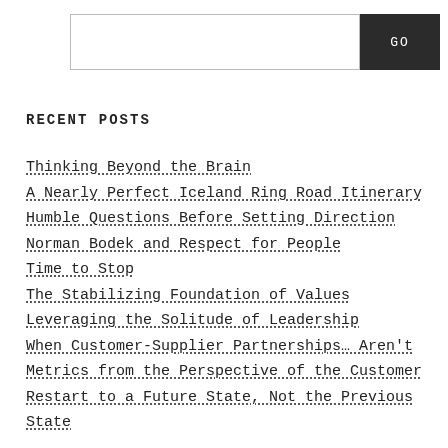RECENT POSTS
Thinking Beyond the Brain
A Nearly Perfect Iceland Ring Road Itinerary
Humble Questions Before Setting Direction
Norman Bodek and Respect for People
Time to Stop
The Stabilizing Foundation of Values
Leveraging the Solitude of Leadership
When Customer-Supplier Partnerships… Aren't
Metrics from the Perspective of the Customer
Restart to a Future State, Not the Previous State